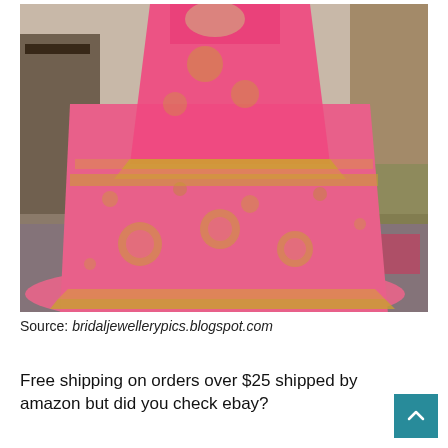[Figure (photo): A woman wearing a pink and gold embroidered Indian bridal lehenga choli with heavy zari and floral embroidery, photographed in an ornate interior setting with furniture and rugs.]
Source: bridaljewellerypics.blogspot.com
Free shipping on orders over $25 shipped by amazon but did you check ebay?